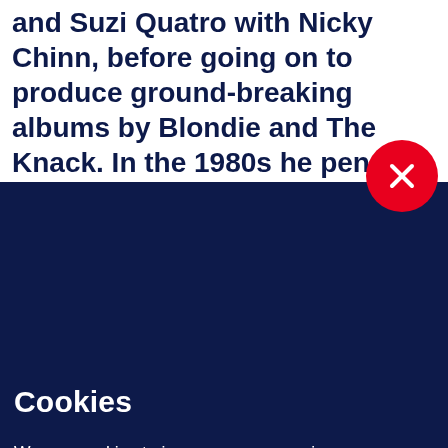and Suzi Quatro with Nicky Chinn, before going on to produce ground-breaking albums by Blondie and The Knack. In the 1980s he penned Simply the Best for Tina Turner and Love is a Battlefield for Pat Benatar, and still writes hit songs today.
Cookies
We use cookies to improve your experience on our website, assess how you use our website and for website security purposes. By continuing to navigate this website, we'll assume you agree to this. Read more about what cookies do and how to adjust your settings here.